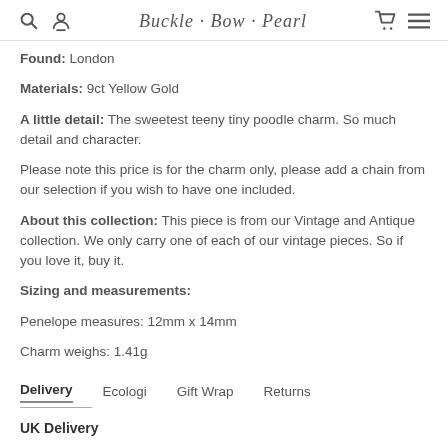Buckle · Bow · Pearl
Found: London
Materials: 9ct Yellow Gold
A little detail: The sweetest teeny tiny poodle charm. So much detail and character.
Please note this price is for the charm only, please add a chain from our selection if you wish to have one included.
About this collection: This piece is from our Vintage and Antique collection. We only carry one of each of our vintage pieces. So if you love it, buy it.
Sizing and measurements:
Penelope measures: 12mm x 14mm
Charm weighs: 1.41g
Delivery	Ecologi	Gift Wrap	Returns
UK Delivery